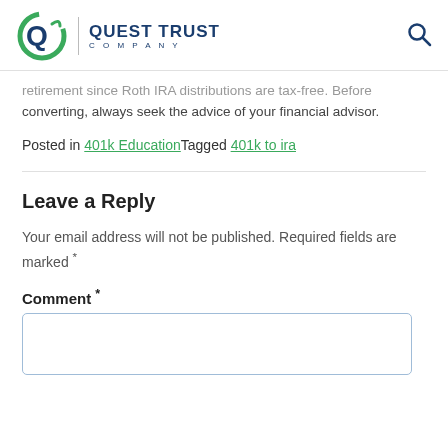Quest Trust Company
retirement since Roth IRA distributions are tax-free. Before converting, always seek the advice of your financial advisor.
Posted in 401k Education Tagged 401k to ira
Leave a Reply
Your email address will not be published. Required fields are marked *
Comment *